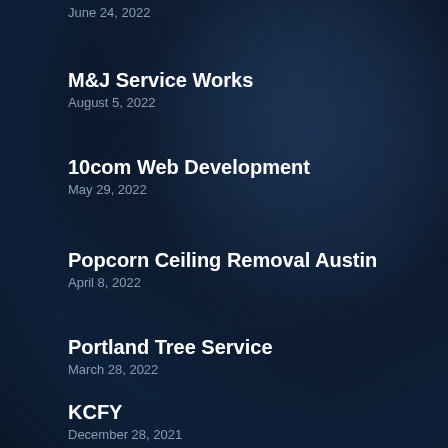June 24, 2022
M&J Service Works
August 5, 2022
10com Web Development
May 29, 2022
Popcorn Ceiling Removal Austin
April 8, 2022
Portland Tree Service
March 28, 2022
KCFY
December 28, 2021